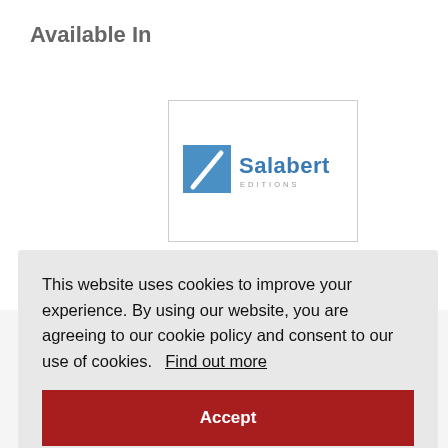Available In
[Figure (logo): Salabert Editions logo — blue square with white slash mark on left, 'Salabert' in blue text, 'EDITIONS' in small gray text below]
3 Sonatines - flute solo (Salabert )
This website uses cookies to improve your experience. By using our website, you are agreeing to our cookie policy and consent to our use of cookies.  Find out more
Accept